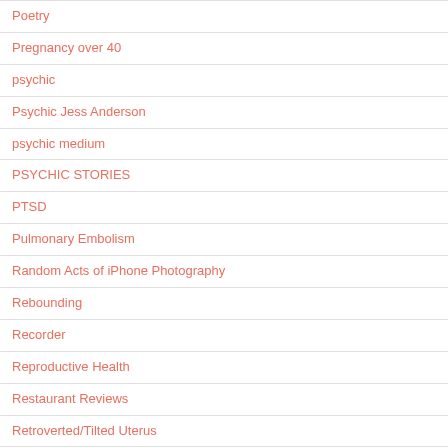Poetry
Pregnancy over 40
psychic
Psychic Jess Anderson
psychic medium
PSYCHIC STORIES
PTSD
Pulmonary Embolism
Random Acts of iPhone Photography
Rebounding
Recorder
Reproductive Health
Restaurant Reviews
Retroverted/Tilted Uterus
Reviews